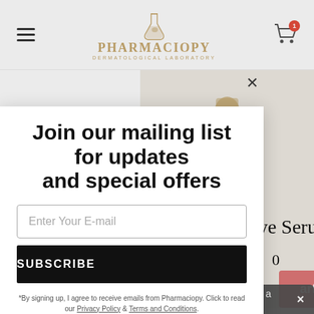[Figure (screenshot): Pharmaciopy website header with hamburger menu, flask logo, brand name 'PHARMACIOPY DERMATOLOGICAL LABORATORY', and shopping cart icon with badge showing 1]
[Figure (photo): Partial product image - serum bottle on light background, partially obscured by modal]
Join our mailing list for updates and special offers
Enter Your E-mail
SUBSCRIBE
*By signing up, I agree to receive emails from Pharmaciopy. Click to read our Privacy Policy & Terms and Conditions.
ing Eye Serum
0
art
Offline - leave a message